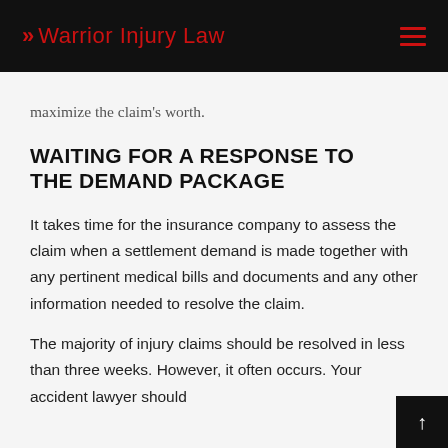Warrior Injury Law
maximize the claim's worth.
WAITING FOR A RESPONSE TO THE DEMAND PACKAGE
It takes time for the insurance company to assess the claim when a settlement demand is made together with any pertinent medical bills and documents and any other information needed to resolve the claim.
The majority of injury claims should be resolved in less than three weeks. However, it often occurs. Your accident lawyer should